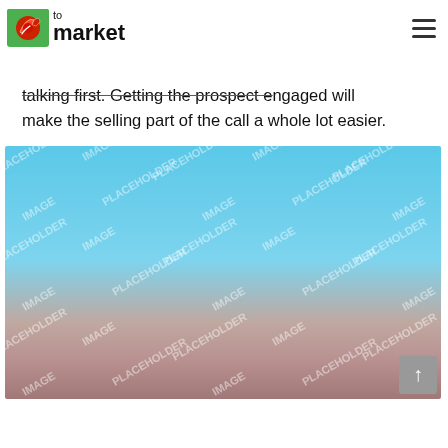to market
talking first. Getting the prospect engaged will make the selling part of the call a whole lot easier.
[Figure (photo): Stock image placeholder with blue-to-mauve gradient background and watermark text 'IMAGE PLACEHOLDER' repeated across the image.]